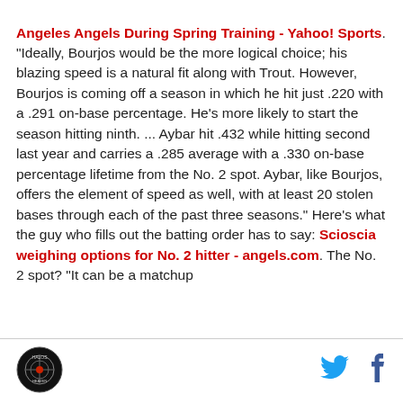Angeles Angels During Spring Training - Yahoo! Sports. "Ideally, Bourjos would be the more logical choice; his blazing speed is a natural fit along with Trout. However, Bourjos is coming off a season in which he hit just .220 with a .291 on-base percentage. He's more likely to start the season hitting ninth. ... Aybar hit .432 while hitting second last year and carries a .285 average with a .330 on-base percentage lifetime from the No. 2 spot. Aybar, like Bourjos, offers the element of speed as well, with at least 20 stolen bases through each of the past three seasons." Here's what the guy who fills out the batting order has to say: Scioscia weighing options for No. 2 hitter - angels.com. The No. 2 spot? "It can be a matchup
[logo] [twitter] [facebook]